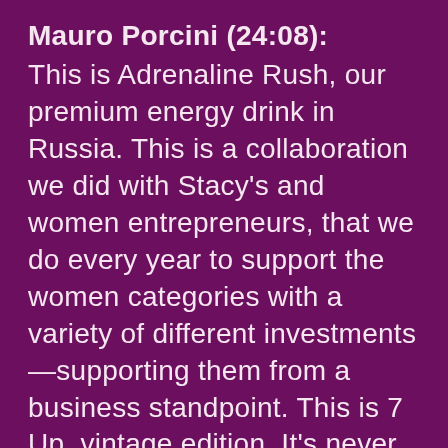Mauro Porcini (24:08): This is Adrenaline Rush, our premium energy drink in Russia. This is a collaboration we did with Stacy's and women entrepreneurs, that we do every year to support the women categories with a variety of different investments—supporting them from a business standpoint. This is 7 Up, vintage edition. It's never just the product itself, it's always the entire ecosystem. We never think just about the packaging, we always think about everything that happens around the packaging. It could be licensing. It could be the activation—the experiences that we create around the brand, or the campaign, obviously all the digital experience